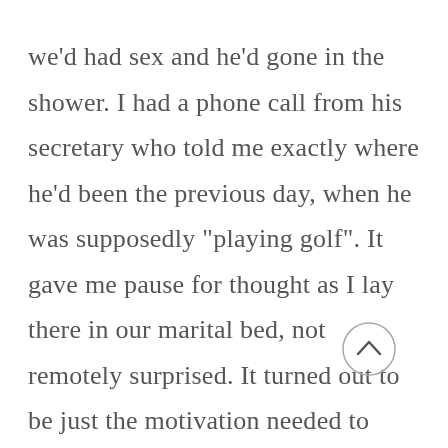we'd had sex and he'd gone in the shower. I had a phone call from his secretary who told me exactly where he'd been the previous day, when he was supposedly "playing golf". It gave me pause for thought as I lay there in our marital bed, not remotely surprised. It turned out to be just the motivation needed to accept an offer made to me months ago. An offer I wasn't even sure still stood until I texted the person in question and was met with a resounding and immediate yes.